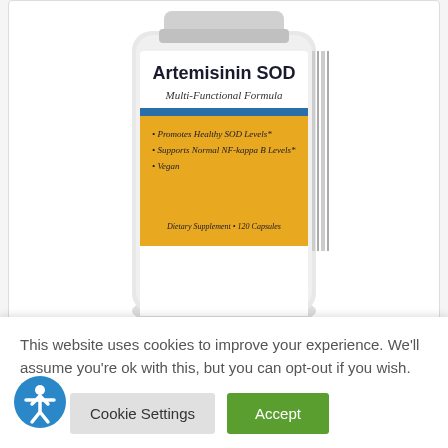[Figure (photo): Partial view of a white supplement bottle labeled 'Artemisinin SOD Multi-Functional Formula' with a yellow label section listing bullet points: Promotes Healthy SOD Levels, Supports Normal NF-kappa B Levels, Vegan. Bottom reads: Dietary Supplement 120 Capsules.]
Artemisinin SOD™ – RECURRING SHIPMENT
Please Login or Register to view pricing.
Login / Register
This website uses cookies to improve your experience. We'll assume you're ok with this, but you can opt-out if you wish.